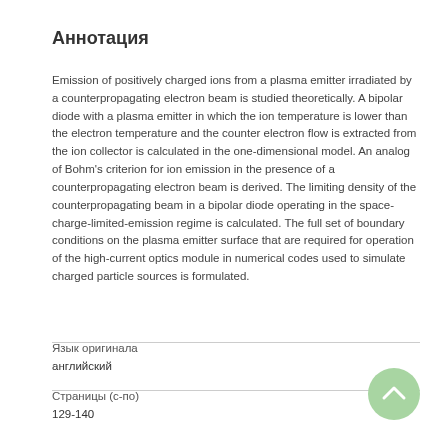Аннотация
Emission of positively charged ions from a plasma emitter irradiated by a counterpropagating electron beam is studied theoretically. A bipolar diode with a plasma emitter in which the ion temperature is lower than the electron temperature and the counter electron flow is extracted from the ion collector is calculated in the one-dimensional model. An analog of Bohm's criterion for ion emission in the presence of a counterpropagating electron beam is derived. The limiting density of the counterpropagating beam in a bipolar diode operating in the space-charge-limited-emission regime is calculated. The full set of boundary conditions on the plasma emitter surface that are required for operation of the high-current optics module in numerical codes used to simulate charged particle sources is formulated.
Язык оригинала
английский
Страницы (с-по)
129-140